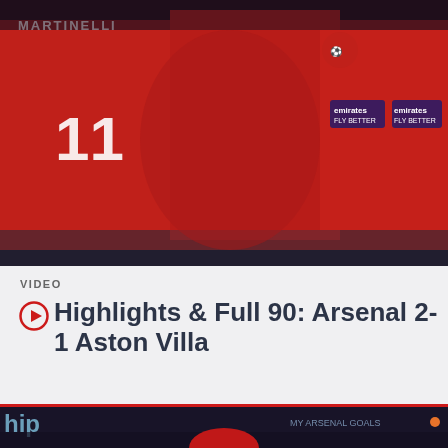[Figure (photo): Arsenal players celebrating in red jerseys with Emirates branding, player number 11 visible]
VIDEO
Highlights & Full 90: Arsenal 2-1 Aston Villa
[Figure (photo): Arsenal player in red Emirates jersey celebrating a goal on the pitch, Aston Villa player in yellow in background]